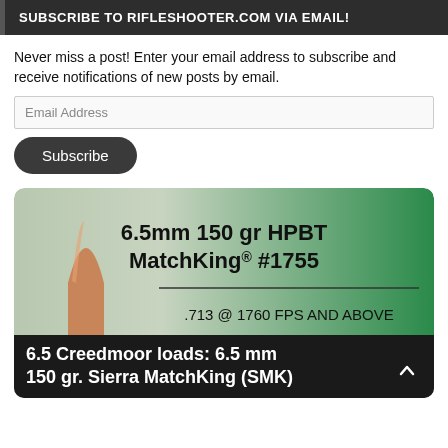SUBSCRIBE TO RIFLESHOOTER.COM VIA EMAIL!
Never miss a post! Enter your email address to subscribe and receive notifications of new posts by email.
[Figure (photo): Product image of a 6.5mm 150 gr HPBT MatchKing #1755 bullet on a green gradient background, showing ballistic coefficient values: .713 @ 1760 FPS AND ABOVE, .686 BETWEEN 1240 & 1760 FPS, .621 @ 1240 FPS AND BELOW]
6.5 Creedmoor loads: 6.5 mm 150 gr. Sierra MatchKing (SMK)